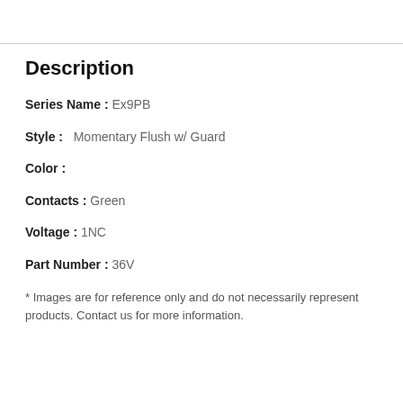Description
Series Name : Ex9PB
Style :  Momentary Flush w/ Guard
Color :
Contacts : Green
Voltage : 1NC
Part Number : 36V
* Images are for reference only and do not necessarily represent products. Contact us for more information.